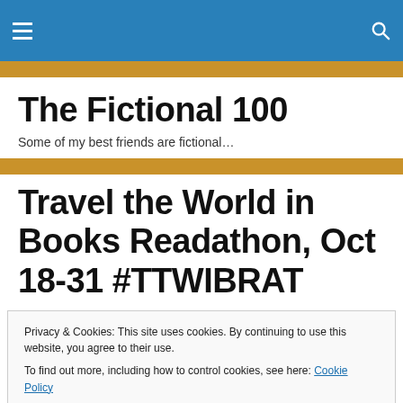The Fictional 100
Some of my best friends are fictional…
Travel the World in Books Readathon, Oct 18-31 #TTWIBRAT
Privacy & Cookies: This site uses cookies. By continuing to use this website, you agree to their use.
To find out more, including how to control cookies, see here: Cookie Policy